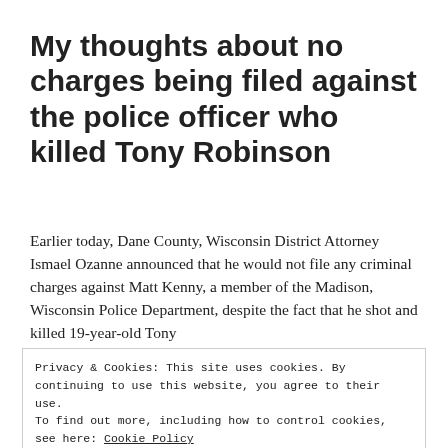My thoughts about no charges being filed against the police officer who killed Tony Robinson
Earlier today, Dane County, Wisconsin District Attorney Ismael Ozanne announced that he would not file any criminal charges against Matt Kenny, a member of the Madison, Wisconsin Police Department, despite the fact that he shot and killed 19-year-old Tony
Privacy & Cookies: This site uses cookies. By continuing to use this website, you agree to their use.
To find out more, including how to control cookies, see here: Cookie Policy
Close and accept
Right Decision, Bad Law